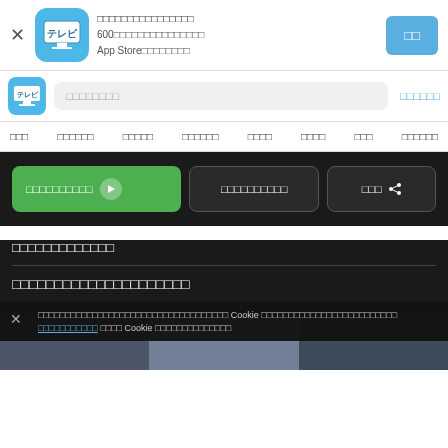[Figure (screenshot): App install banner with TV app icon, Japanese text, and install button]
[Figure (screenshot): Navigation bar with TV app logo, search box with Japanese placeholder, and Japanese link]
□□□ □□□□□□ □□□□□ □□□□□□ □□□□ □□□□ □□□ □□□□□□
[Figure (screenshot): Dark section with action buttons: green play button, dark buttons with Japanese text and share icon]
□□□□□□□□□□□□□
□□□□□□□□□□□□□□□□□□□
□□□□□□□□□□□□□□□□□□□□□□□□□□□□□□□□□□□□□ Cookie □□□□□□□□□□□□□□□□□□□□□□□□□ □□□□ Cookie □□□□□□□□□□□□□□